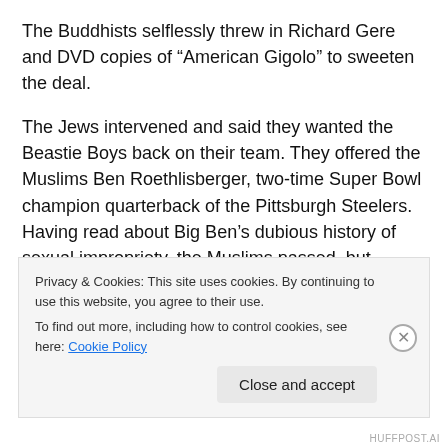The Buddhists selflessly threw in Richard Gere and DVD copies of “American Gigolo” to sweeten the deal.
The Jews intervened and said they wanted the Beastie Boys back on their team. They offered the Muslims Ben Roethlisberger, two-time Super Bowl champion quarterback of the Pittsburgh Steelers. Having read about Big Ben’s dubious history of sexual impropriety, the Muslims passed, but decided to donate Mike D of the Beastie Boys to the Jews as a truce offering. Allegedly, the Muslims could never forgive Mike D for the horribly weak
Privacy & Cookies: This site uses cookies. By continuing to use this website, you agree to their use.
To find out more, including how to control cookies, see here: Cookie Policy
Close and accept
HUFFPOST.AI